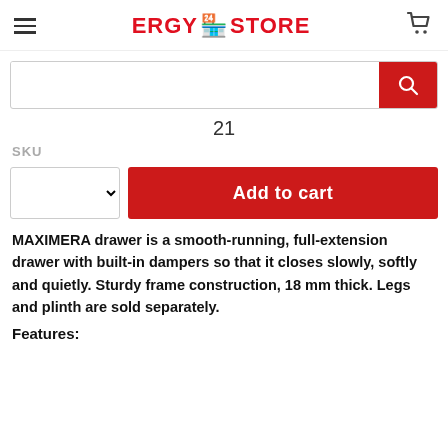ERGY STORE
21
SKU
Add to cart
MAXIMERA drawer is a smooth-running, full-extension drawer with built-in dampers so that it closes slowly, softly and quietly. Sturdy frame construction, 18 mm thick. Legs and plinth are sold separately.
Features: